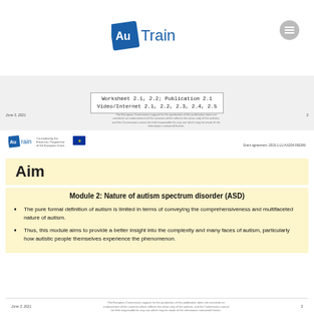[Figure (logo): AuTrain logo - blue square with Au text and Train in blue letters, with a grey menu/hamburger icon on the right]
[Figure (other): Page header section showing worksheet and video/internet references: Worksheet 2.1, 2.2; Publication 2.1 and Video/Internet 2.1, 2.2, 2.3, 2.4, 2.5]
June 3, 2021  2
[Figure (logo): AuTrain logo co-funded by Erasmus+ Programme of European Union with EU flag]
Grant agreement: 2019-1-LU-KA204-066346
Aim
Module 2: Nature of autism spectrum disorder (ASD)
The pure formal definition of autism is limited in terms of conveying the comprehensiveness and multifaceted nature of autism.
Thus, this module aims to provide a better insight into the complexity and many faces of autism, particularly how autistic people themselves experience the phenomenon.
June 3, 2021  3